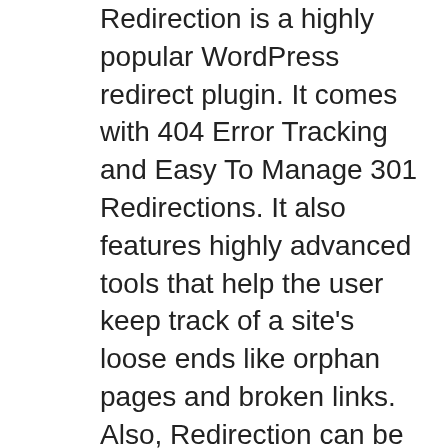Redirection is a highly popular WordPress redirect plugin. It comes with 404 Error Tracking and Easy To Manage 301 Redirections. It also features highly advanced tools that help the user keep track of a site's loose ends like orphan pages and broken links. Also, Redirection can be used not only for missing pages and broken links but also for any type of addresses. It also has the ability to auto-generate the redirects while updating a post URL. It also can manually add 307 or 302 redirects. It can even control the redirects for index.htm, index.php. and index.html pages. Redirection comes with easy installation option and also offers automatic redirect.